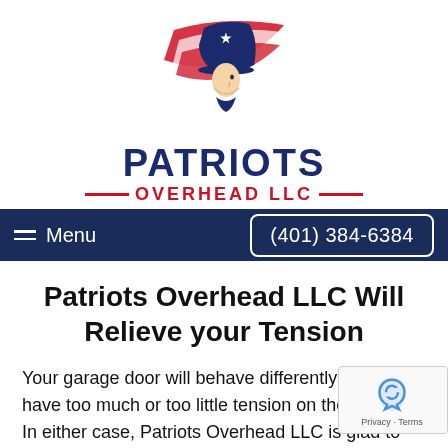[Figure (logo): Patriots Overhead LLC logo with patriot soldier wearing tricorn hat with American flag motif, red white and blue colors]
PATRIOTS
—OVERHEAD LLC—
≡  Menu    (401) 384-6384
Patriots Overhead LLC Will Relieve your Tension
Your garage door will behave differently if you have too much or too little tension on the springs. In either case, Patriots Overhead LLC is glad to assist you. With o years of experience in fixing springs on a Wood Riv Junction garage doors, our crews will determine you